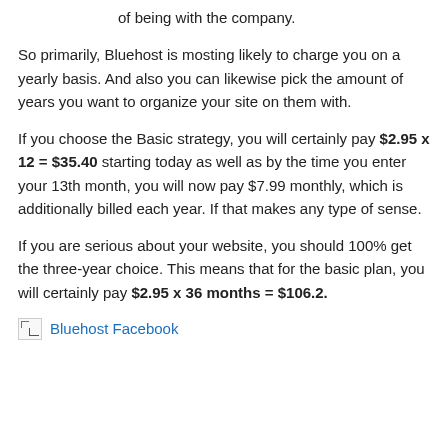of being with the company.
So primarily, Bluehost is mosting likely to charge you on a yearly basis. And also you can likewise pick the amount of years you want to organize your site on them with.
If you choose the Basic strategy, you will certainly pay $2.95 x 12 = $35.40 starting today as well as by the time you enter your 13th month, you will now pay $7.99 monthly, which is additionally billed each year. If that makes any type of sense.
If you are serious about your website, you should 100% get the three-year choice. This means that for the basic plan, you will certainly pay $2.95 x 36 months = $106.2.
[Figure (other): Broken image placeholder followed by a hyperlink labeled 'Bluehost Facebook']